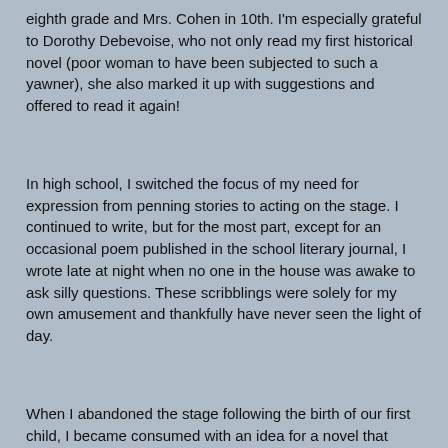eighth grade and Mrs. Cohen in 10th. I'm especially grateful to Dorothy Debevoise, who not only read my first historical novel (poor woman to have been subjected to such a yawner), she also marked it up with suggestions and offered to read it again!
In high school, I switched the focus of my need for expression from penning stories to acting on the stage. I continued to write, but for the most part, except for an occasional poem published in the school literary journal, I wrote late at night when no one in the house was awake to ask silly questions. These scribblings were solely for my own amusement and thankfully have never seen the light of day.
When I abandoned the stage following the birth of our first child, I became consumed with an idea for a novel that came to me in a dream. I knew next to nothing about writing for publication but lots about creating characters, thanks to an MFA in Acting. Back then, in the early 1980s after we moved from Connecticut to Indiana (where my husband accepted a position at a small private Catholic all-girls college), before the internet